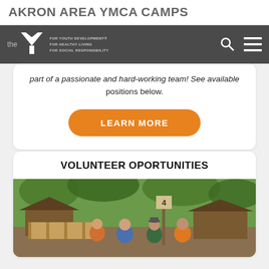AKRON AREA YMCA CAMPS
the Y — FOR YOUTH DEVELOPMENT / FOR HEALTHY LIVING / FOR SOCIAL RESPONSIBILITY
part of a passionate and hard-working team! See available positions below.
LEARN MORE
VOLUNTEER OPORTUNITIES
[Figure (photo): Group of four volunteers standing outdoors at a camp, with wooden structures and trees in the background. A number 4 sign is visible on a post.]